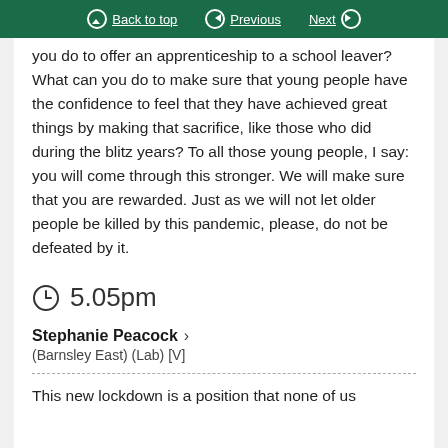Back to top | Previous | Next
you do to offer an apprenticeship to a school leaver? What can you do to make sure that young people have the confidence to feel that they have achieved great things by making that sacrifice, like those who did during the blitz years? To all those young people, I say: you will come through this stronger. We will make sure that you are rewarded. Just as we will not let older people be killed by this pandemic, please, do not be defeated by it.
5.05pm
Stephanie Peacock
(Barnsley East) (Lab) [V]
This new lockdown is a position that none of us...